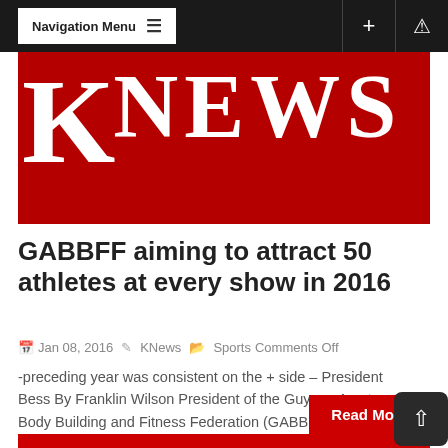Navigation Menu
[Figure (logo): KNews logo — white letters K NEWS on red background]
GABBFF aiming to attract 50 athletes at every show in 2016
Jan 08, 2016  KNews  Sports  Comments Off
-preceding year was consistent on the + side – President Bess By Franklin Wilson President of the Guyana Amateur Body Building and Fitness Federation (GABBFF) Kevon Bess is satisfied that 2015...
Read More